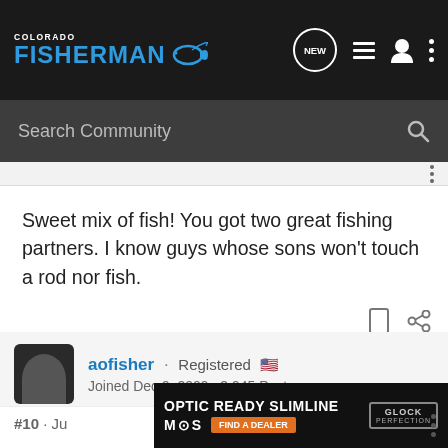Colorado Fisherman - Search Community
Sweet mix of fish! You got two great fishing partners. I know guys whose sons won't touch a rod nor fish.
aofisher · Registered  Joined Dec 9, 2009 · 3,945 Posts
#10 · Ju...
[Figure (screenshot): Advertisement banner: OPTIC READY SLIMLINE, MOS, FIND A DEALER, Glock Perfection logo]